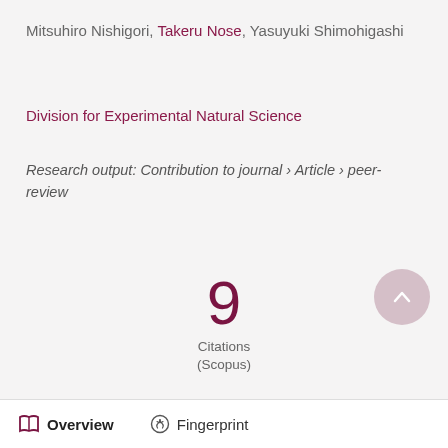Mitsuhiro Nishigori, Takeru Nose, Yasuyuki Shimohigashi
Division for Experimental Natural Science
Research output: Contribution to journal › Article › peer-review
9
Citations
(Scopus)
Overview   Fingerprint